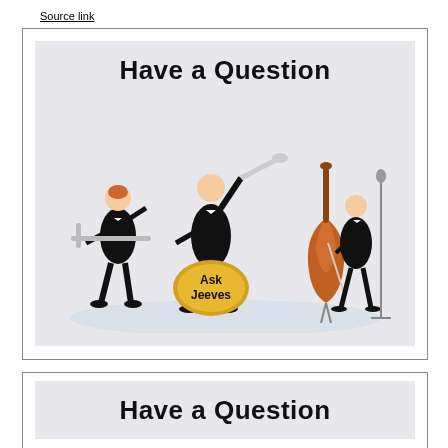Source link
[Figure (illustration): Illustration of jazz musicians in tuxedos playing instruments (trombone, trumpet, double bass, drums) with a drum kit labeled 'Ask Jeeves' and text 'Have a Question' at the top, on a light grey background.]
[Figure (illustration): Partial repeat of the same 'Have a Question' illustration showing only the top portion with the text 'Have a Question' on a light grey background.]